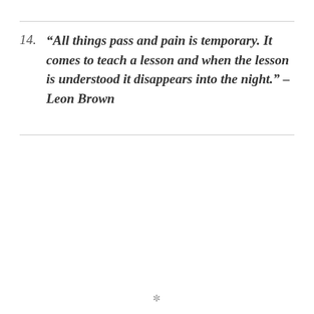14. “All things pass and pain is temporary. It comes to teach a lesson and when the lesson is understood it disappears into the night.” – Leon Brown
✱